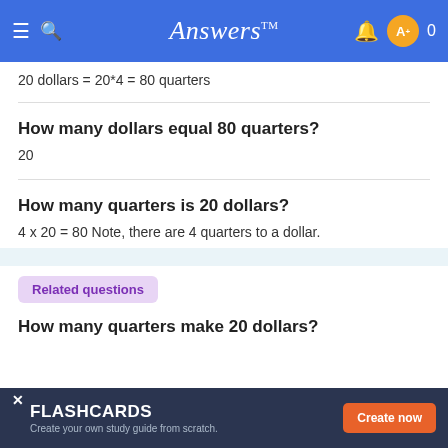Answers
20 dollars = 20*4 = 80 quarters
How many dollars equal 80 quarters?
20
How many quarters is 20 dollars?
4 x 20 = 80 Note, there are 4 quarters to a dollar.
Related questions
How many quarters make 20 dollars?
FLASHCARDS Create your own study guide from scratch.